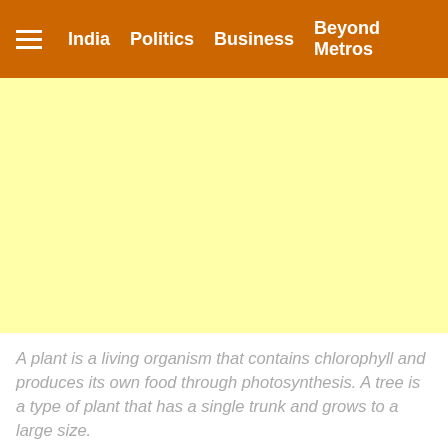India   Politics   Business   Beyond Metros
[Figure (other): Yellow advertisement placeholder block]
A plant is a living organism that contains chlorophyll and produces its own food through photosynthesis. A tree is a type of plant that has a single trunk and grows to a large size.
By Newsd